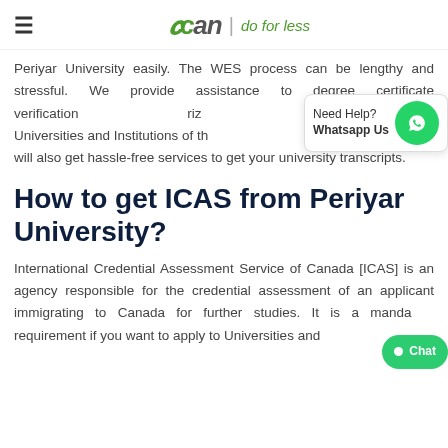gcan | do for less
Periyar University easily. The WES process can be lengthy and stressful. We provide assistance to degree certificate verification rize Universities and Institutions of th . will also get hassle-free services to get your university transcripts.
How to get ICAS from Periyar University?
International Credential Assessment Service of Canada [ICAS] is an agency responsible for the credential assessment of an applicant immigrating to Canada for further studies. It is a manda requirement if you want to apply to Universities and